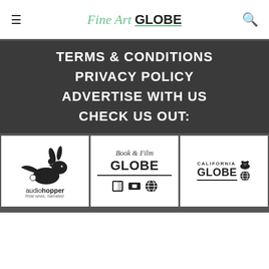Fine Art GLOBE
TERMS & CONDITIONS
PRIVACY POLICY
ADVERTISE WITH US
CHECK US OUT:
[Figure (logo): audiohopper logo — running rabbit silhouette, text 'audiohopper Real news. Narrated.']
[Figure (logo): Book & Film GLOBE logo with book, ticket, and globe icons]
[Figure (logo): CALIFORNIA GLOBE logo with bear and globe icons]